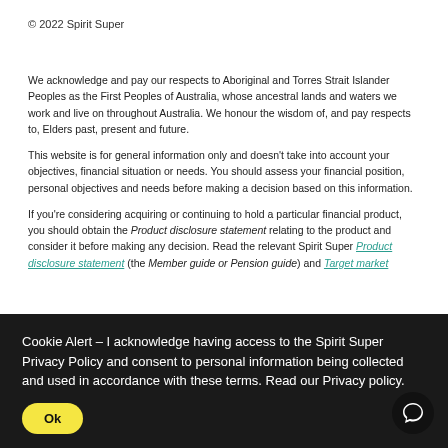© 2022 Spirit Super
We acknowledge and pay our respects to Aboriginal and Torres Strait Islander Peoples as the First Peoples of Australia, whose ancestral lands and waters we work and live on throughout Australia. We honour the wisdom of, and pay respects to, Elders past, present and future.
This website is for general information only and doesn't take into account your objectives, financial situation or needs. You should assess your financial position, personal objectives and needs before making a decision based on this information.
If you're considering acquiring or continuing to hold a particular financial product, you should obtain the Product disclosure statement relating to the product and consider it before making any decision. Read the relevant Spirit Super Product disclosure statement (the Member guide or Pension guide) and Target market ...
Cookie Alert – I acknowledge having access to the Spirit Super Privacy Policy and consent to personal information being collected and used in accordance with these terms. Read our Privacy policy.